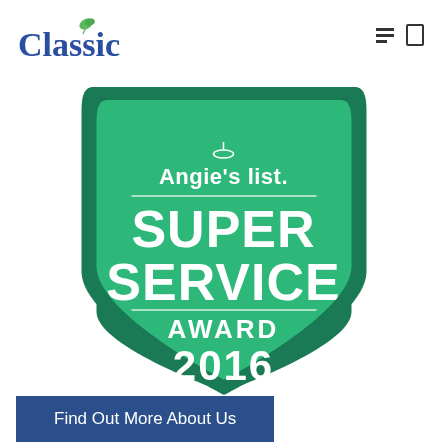[Figure (logo): Classic company logo with blue text and green leaf icon]
[Figure (illustration): Angie's List Super Service Award 2016 badge — shield shape in green with white text reading: Angie's list, SUPER SERVICE, AWARD, 2016]
Find Out More About Us